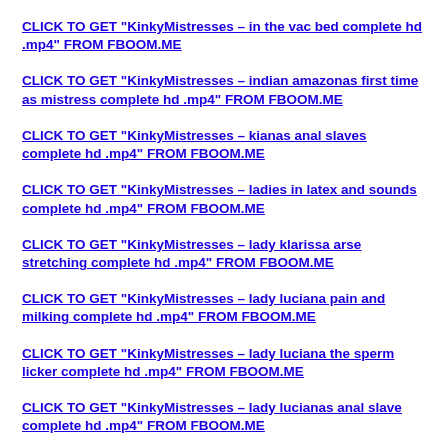CLICK TO GET "KinkyMistresses – in the vac bed complete hd .mp4" FROM FBOOM.ME
CLICK TO GET "KinkyMistresses – indian amazonas first time as mistress complete hd .mp4" FROM FBOOM.ME
CLICK TO GET "KinkyMistresses – kianas anal slaves complete hd .mp4" FROM FBOOM.ME
CLICK TO GET "KinkyMistresses – ladies in latex and sounds complete hd .mp4" FROM FBOOM.ME
CLICK TO GET "KinkyMistresses – lady klarissa arse stretching complete hd .mp4" FROM FBOOM.ME
CLICK TO GET "KinkyMistresses – lady luciana pain and milking complete hd .mp4" FROM FBOOM.ME
CLICK TO GET "KinkyMistresses – lady luciana the sperm licker complete hd .mp4" FROM FBOOM.ME
CLICK TO GET "KinkyMistresses – lady lucianas anal slave complete hd .mp4" FROM FBOOM.ME